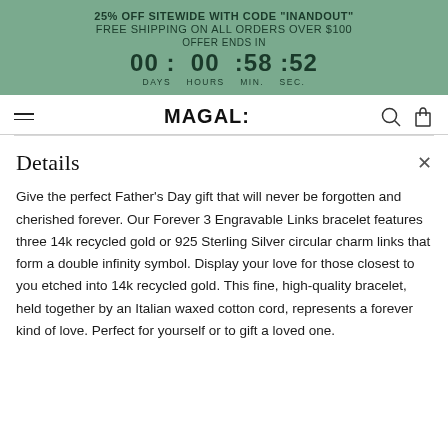25% OFF SITEWIDE WITH CODE "INANDOUT" FREE SHIPPING ON ALL ORDERS OVER $100 OFFER ENDS IN 00 : 00 : 58 : 52 DAYS HOURS MIN. SEC.
MAGAL:
Details
Give the perfect Father's Day gift that will never be forgotten and cherished forever. Our Forever 3 Engravable Links bracelet features three 14k recycled gold or 925 Sterling Silver circular charm links that form a double infinity symbol. Display your love for those closest to you etched into 14k recycled gold. This fine, high-quality bracelet, held together by an Italian waxed cotton cord, represents a forever kind of love. Perfect for yourself or to gift a loved one.